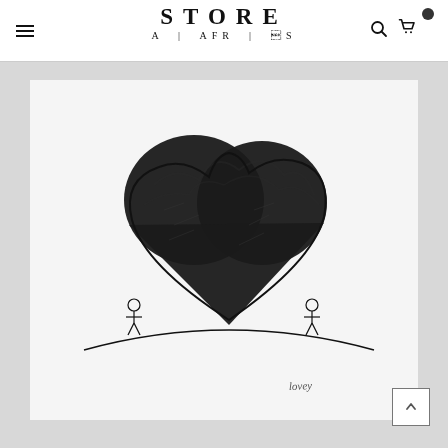STORE | A | AFR | S
[Figure (illustration): Black ink drawing of a large dark heart shape sitting on a hill, with two small stick figures standing on either side at the base of the hill. The heart is rendered with heavy black ink texture. There is a handwritten signature at the bottom right of the artwork.]